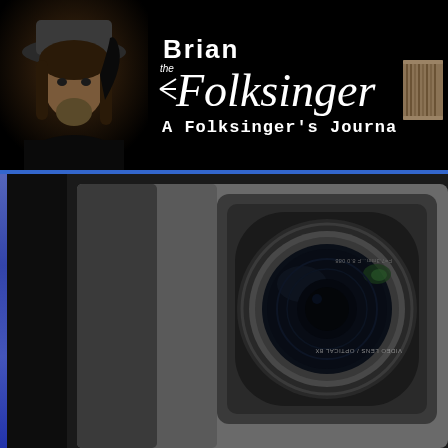[Figure (photo): Portrait of a man wearing a wide-brimmed hat with long curly hair and beard, on black background]
Brian the Folksinger — A Folksinger's Journal
[Figure (photo): Close-up photo of a video camera lens, showing lens markings and glass elements, on dark background with blue sidebar bar on left]